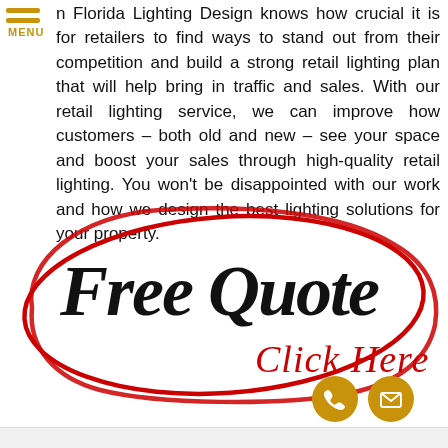MENU
Florida Lighting Design knows how crucial it is for retailers to find ways to stand out from their competition and build a strong retail lighting plan that will help bring in traffic and sales. With our retail lighting service, we can improve how customers – both old and new – see your space and boost your sales through high-quality retail lighting. You won't be disappointed with our work and how we design the best lighting solutions for your property.
[Figure (illustration): Handwritten-style text reading 'Free Quote' in large black script with 'Click Here' in red cursive underneath, all enclosed within a large hand-drawn red oval circle.]